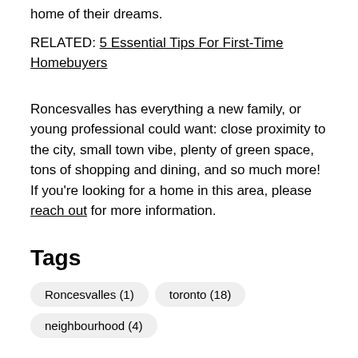home of their dreams.
RELATED: 5 Essential Tips For First-Time Homebuyers
Roncesvalles has everything a new family, or young professional could want: close proximity to the city, small town vibe, plenty of green space, tons of shopping and dining, and so much more! If you're looking for a home in this area, please reach out for more information.
Tags
Roncesvalles (1)
toronto (18)
neighbourhood (4)